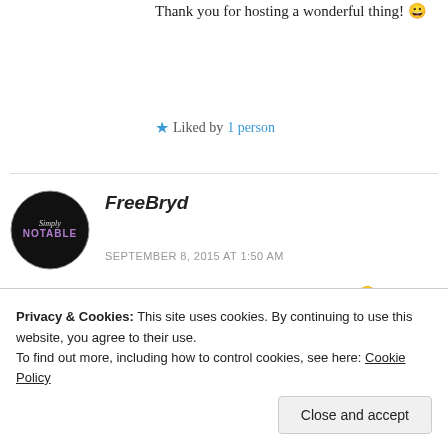Thank you for hosting a wonderful thing! 😀
★ Liked by 1 person
[Figure (photo): Circular avatar with black background showing 'Simply Notable' logo text]
FreeBryd
SEPTEMBER 8, 2015 AT 1:50 AM
Thanks for joining! Same time next week 🙂
Privacy & Cookies: This site uses cookies. By continuing to use this website, you agree to their use. To find out more, including how to control cookies, see here: Cookie Policy
Close and accept